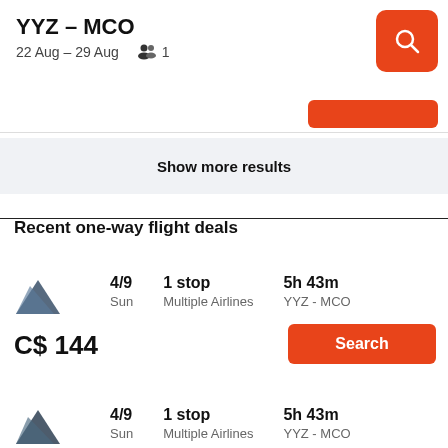YYZ – MCO
22 Aug – 29 Aug  👥 1
Show more results
Recent one-way flight deals
4/9 Sun | 1 stop Multiple Airlines | 5h 43m YYZ - MCO
C$ 144
Search
4/9 Sun | 1 stop Multiple Airlines | 5h 43m YYZ - MCO